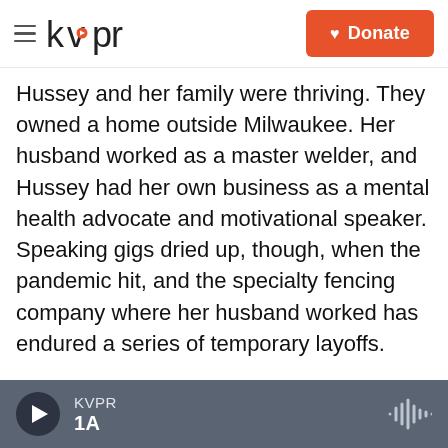kvpr | Donate
Hussey and her family were thriving. They owned a home outside Milwaukee. Her husband worked as a master welder, and Hussey had her own business as a mental health advocate and motivational speaker. Speaking gigs dried up, though, when the pandemic hit, and the specialty fencing company where her husband worked has endured a series of temporary layoffs.
CHENON HUSSEY: It's hard when you're raising a family and you don't have any idea of what the next few months are going to look like.
HORSLEY: Several federal programs launched
KVPR 1A